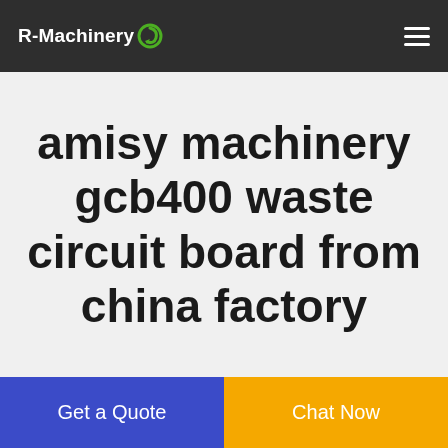R-Machinery
amisy machinery gcb400 waste circuit board from china factory
Get a Quote
Chat Now